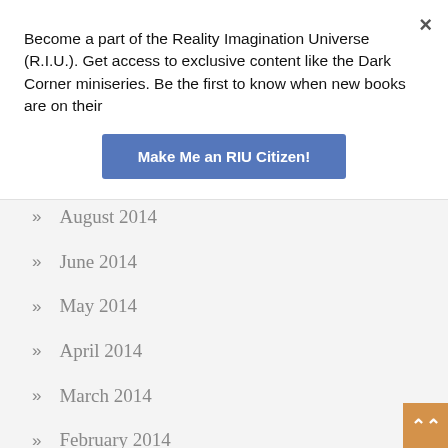Become a part of the Reality Imagination Universe (R.I.U.). Get access to exclusive content like the Dark Corner miniseries. Be the first to know when new books are on their
Make Me an RIU Citizen!
×
August 2014
June 2014
May 2014
April 2014
March 2014
February 2014